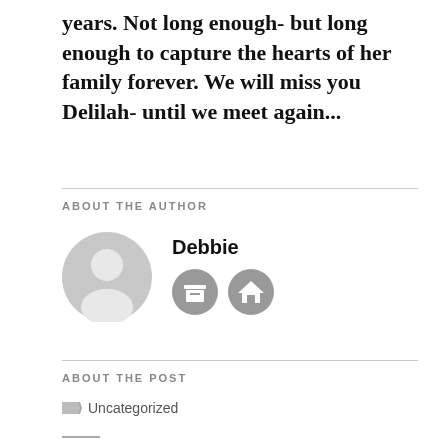years. Not long enough- but long enough to capture the hearts of her family forever. We will miss you Delilah- until we meet again...
ABOUT THE AUTHOR
[Figure (illustration): Gray circular avatar icon with silhouette of a person]
Debbie
[Figure (infographic): Two circular gray icon buttons: archive/posts icon and home icon]
ABOUT THE POST
Uncategorized